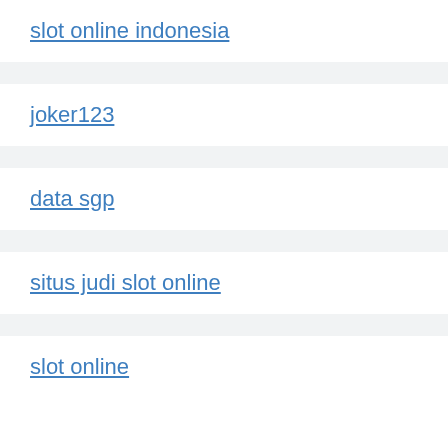slot online indonesia
joker123
data sgp
situs judi slot online
slot online